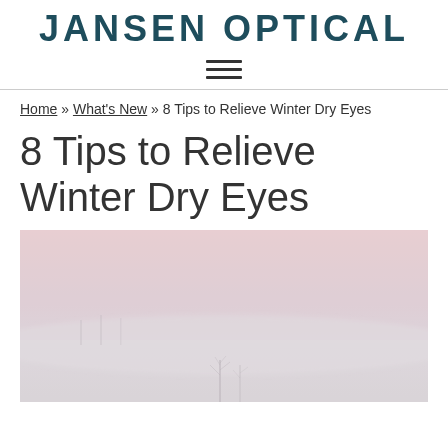JANSEN OPTICAL
≡ (navigation menu icon)
Home » What's New » 8 Tips to Relieve Winter Dry Eyes
8 Tips to Relieve Winter Dry Eyes
[Figure (photo): Misty winter landscape with a pale pink and grey sky, subtle bare tree silhouettes in the background, and a foggy snowy scene.]